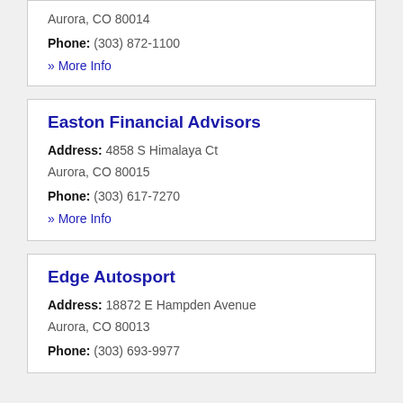Aurora, CO 80014
Phone: (303) 872-1100
» More Info
Easton Financial Advisors
Address: 4858 S Himalaya Ct
Aurora, CO 80015
Phone: (303) 617-7270
» More Info
Edge Autosport
Address: 18872 E Hampden Avenue
Aurora, CO 80013
Phone: (303) 693-9977